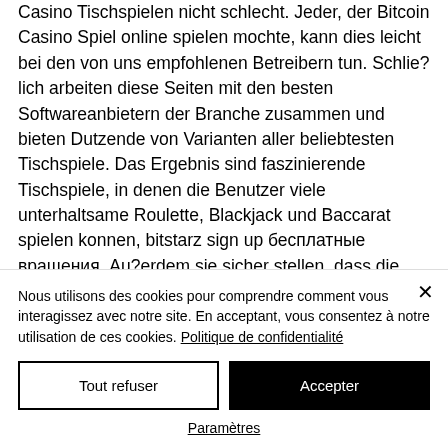Casino Tischspielen nicht schlecht. Jeder, der Bitcoin Casino Spiel online spielen mochte, kann dies leicht bei den von uns empfohlenen Betreibern tun. Schlie?lich arbeiten diese Seiten mit den besten Softwareanbietern der Branche zusammen und bieten Dutzende von Varianten aller beliebtesten Tischspiele. Das Ergebnis sind faszinierende Tischspiele, in denen die Benutzer viele unterhaltsame Roulette, Blackjack und Baccarat spielen konnen, bitstarz sign up бесплатные вращения. Au?erdem sie sicher stellen, dass die Maximal-
Nous utilisons des cookies pour comprendre comment vous interagissez avec notre site. En acceptant, vous consentez à notre utilisation de ces cookies. Politique de confidentialité
Tout refuser
Accepter
Paramètres